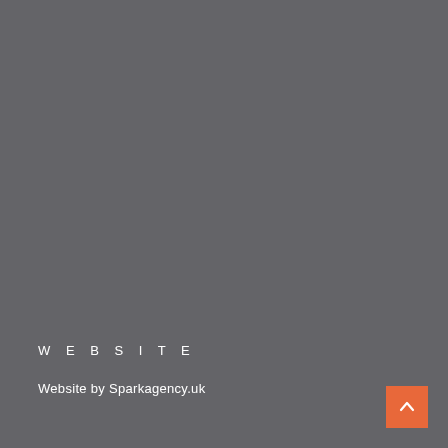WEBSITE
Website by Sparkagency.uk
[Figure (other): Orange scroll-to-top button with upward chevron arrow in bottom-right corner]